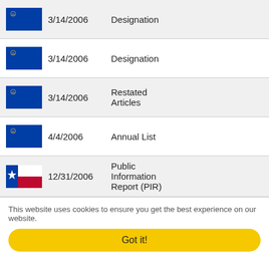| Flag | Date | Document Type |
| --- | --- | --- |
| Nevada | 3/14/2006 | Designation |
| Nevada | 3/14/2006 | Designation |
| Nevada | 3/14/2006 | Restated Articles |
| Nevada | 4/4/2006 | Annual List |
| Texas | 12/31/2006 | Public Information Report (PIR) |
| Texas | 12/31/2006 | Public Information Report (PIR) |
| Nevada | 3/28/2007 | Annual List |
This website uses cookies to ensure you get the best experience on our website.
Got it!